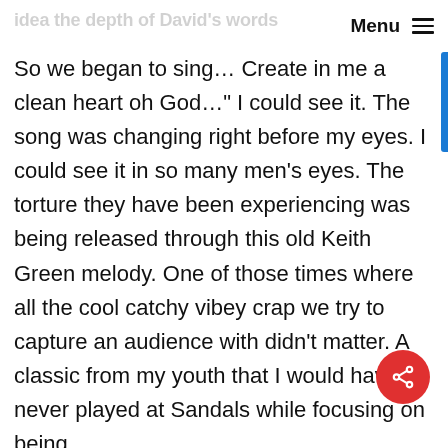idea the depth of David's words   Menu ☰
So we began to sing… Create in me a clean heart oh God…" I could see it. The song was changing right before my eyes. I could see it in so many men's eyes. The torture they have been experiencing was being released through this old Keith Green melody. One of those times where all the cool catchy vibey crap we try to capture an audience with didn't matter. A classic from my youth that I would have never played at Sandals while focusing on being